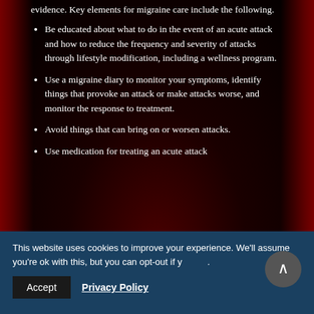evidence. Key elements for migraine care include the following.
Be educated about what to do in the event of an acute attack and how to reduce the frequency and severity of attacks through lifestyle modification, including a wellness program.
Use a migraine diary to monitor your symptoms, identify things that provoke an attack or make attacks worse, and monitor the response to treatment.
Avoid things that can bring on or worsen attacks.
Use medication for treating an acute attack
This website uses cookies to improve your experience. We'll assume you're ok with this, but you can opt-out if you wish.